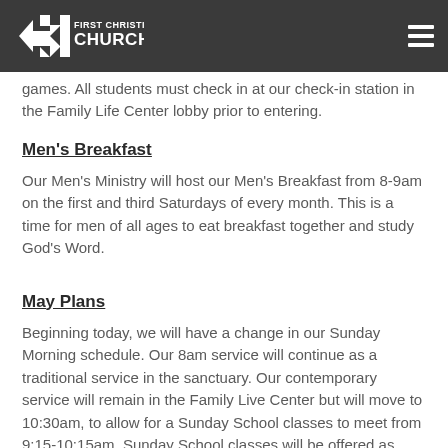First Christian Church
games.  All students must check in at our check-in station in the Family Life Center lobby prior to entering.
Men's Breakfast
Our Men's Ministry will host our Men's Breakfast from 8-9am on the first and third Saturdays of every month.  This is a time for men of all ages to eat breakfast together and study God's Word.
May Plans
Beginning today, we will have a change in our Sunday Morning schedule.  Our 8am service will continue as a traditional service in the sanctuary.  Our contemporary service will remain in the Family Live Center but will move to 10:30am, to allow for a Sunday School classes to meet from 9:15-10:15am.  Sunday School classes will be offered as follows: